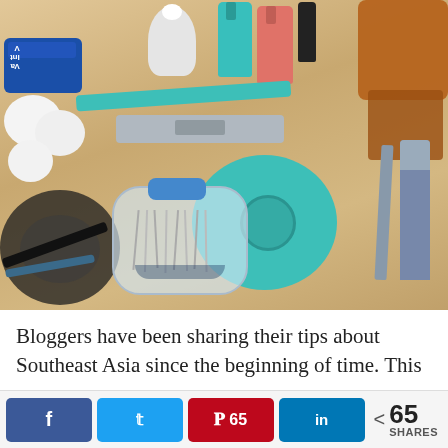[Figure (photo): Overhead flat-lay photo on a wooden surface showing various beauty and personal care items: nail polish bottles (teal and coral), an amber bottle, a small white bottle, a Vaseline tin, cotton balls, a teal nail file, nail clippers, a teal compact mirror, tweezers, a lipstick or lip balm tube, a clear pin box with safety pins and a blue cap, and hair ties/black cord bundled together.]
Bloggers have been sharing their tips about Southeast Asia since the beginning of time. This
[Figure (infographic): Social media share bar with Facebook, Twitter, Pinterest (showing 65 saves), LinkedIn buttons, and a total share count of 65 SHARES.]